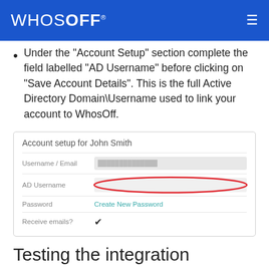WHOSOFF
Under the "Account Setup" section complete the field labelled "AD Username" before clicking on "Save Account Details". This is the full Active Directory Domain\Username used to link your account to WhosOff.
[Figure (screenshot): Account setup form for John Smith showing fields: Username/Email (blurred), AD Username (empty field circled in red), Password (Create New Password link), Receive emails? (checkbox checked)]
Testing the integration